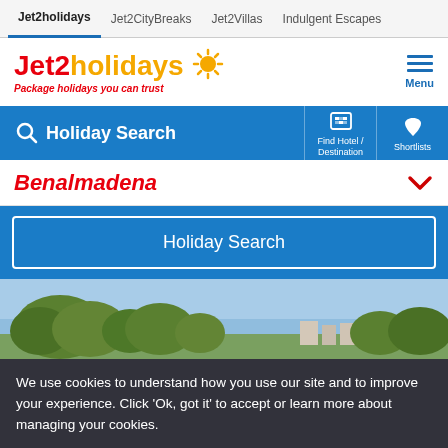Jet2holidays | Jet2CityBreaks | Jet2Villas | Indulgent Escapes
[Figure (logo): Jet2holidays logo with sun icon and tagline 'Package holidays you can trust']
Holiday Search | Find Hotel / Destination | Shortlists
Benalmadena
Holiday Search
[Figure (photo): Outdoor photo showing trees against a blue sky, landscape of Benalmadena]
We use cookies to understand how you use our site and to improve your experience. Click 'Ok, got it' to accept or learn more about managing your cookies.
Learn more | Ok, got it